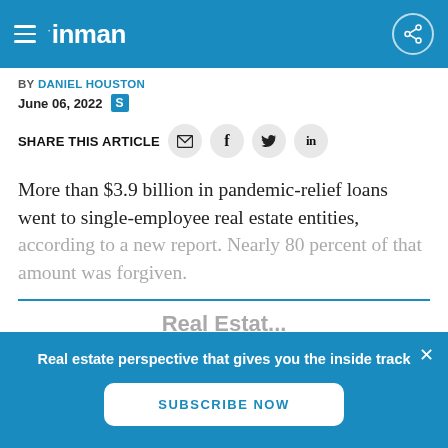inman
BY DANIEL HOUSTON
June 06, 2022
SHARE THIS ARTICLE
More than $3.9 billion in pandemic-relief loans went to single-employee real estate entities, according to a new report. Nearly 80 percent of that amount was forgiven.
Real estate perspective that gives you the inside track
SUBSCRIBE NOW